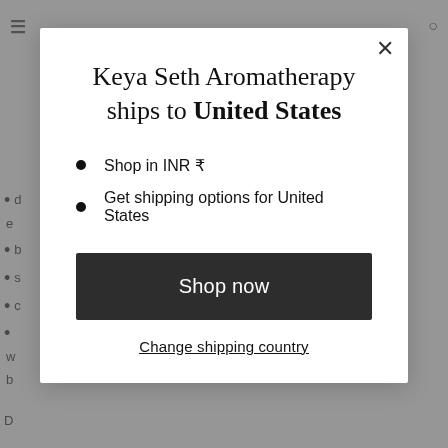[Figure (screenshot): Background webpage with hamburger menu icon, partial bullet list items, and partial text visible behind a modal overlay]
Keya Seth Aromatherapy ships to United States
Shop in INR ₹
Get shipping options for United States
Shop now
Change shipping country